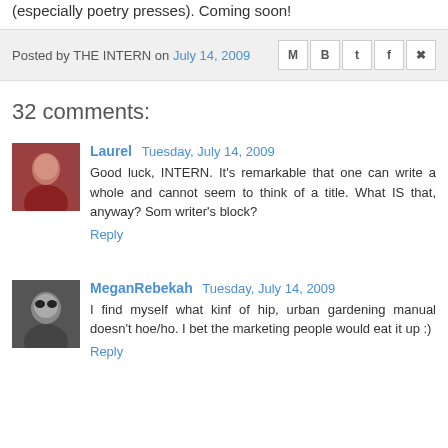(especially poetry presses). Coming soon!
Posted by THE INTERN on July 14, 2009
32 comments:
Laurel  Tuesday, July 14, 2009
Good luck, INTERN. It's remarkable that one can write a whole and cannot seem to think of a title. What IS that, anyway? Som writer's block?
Reply
MeganRebekah  Tuesday, July 14, 2009
I find myself what kinf of hip, urban gardening manual doesn't hoe/ho. I bet the marketing people would eat it up :)
Reply